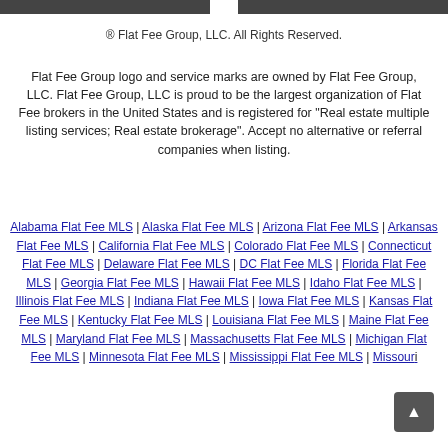® Flat Fee Group, LLC. All Rights Reserved.
Flat Fee Group logo and service marks are owned by Flat Fee Group, LLC. Flat Fee Group, LLC is proud to be the largest organization of Flat Fee brokers in the United States and is registered for "Real estate multiple listing services; Real estate brokerage". Accept no alternative or referral companies when listing.
Alabama Flat Fee MLS | Alaska Flat Fee MLS | Arizona Flat Fee MLS | Arkansas Flat Fee MLS | California Flat Fee MLS | Colorado Flat Fee MLS | Connecticut Flat Fee MLS | Delaware Flat Fee MLS | DC Flat Fee MLS | Florida Flat Fee MLS | Georgia Flat Fee MLS | Hawaii Flat Fee MLS | Idaho Flat Fee MLS | Illinois Flat Fee MLS | Indiana Flat Fee MLS | Iowa Flat Fee MLS | Kansas Flat Fee MLS | Kentucky Flat Fee MLS | Louisiana Flat Fee MLS | Maine Flat Fee MLS | Maryland Flat Fee MLS | Massachusetts Flat Fee MLS | Michigan Flat Fee MLS | Minnesota Flat Fee MLS | Mississippi Flat Fee MLS | Missouri